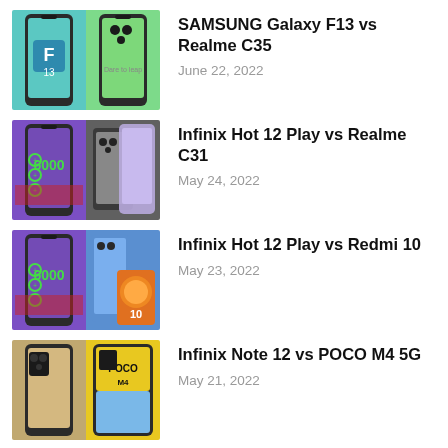SAMSUNG Galaxy F13 vs Realme C35
June 22, 2022
Infinix Hot 12 Play vs Realme C31
May 24, 2022
Infinix Hot 12 Play vs Redmi 10
May 23, 2022
Infinix Note 12 vs POCO M4 5G
May 21, 2022